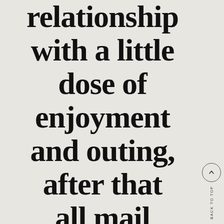relationship with a little dose of enjoyment and outing, after that all mail
BACK TO TOP